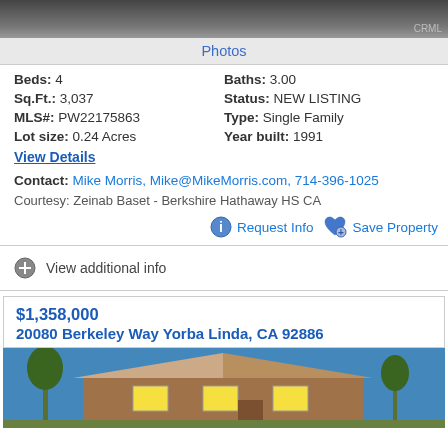[Figure (photo): Dark/blurred top photo of a property with CRML watermark]
Photos
Beds: 4   Baths: 3.00
Sq.Ft.: 3,037   Status: NEW LISTING
MLS#: PW22175863   Type: Single Family
Lot size: 0.24 Acres   Year built: 1991
View Details
Contact: Mike Morris, Mike@MikeMorris.com, 714-396-1025
Courtesy: Zeinab Baset - Berkshire Hathaway HS CA
Request Info   Save Property
View additional info
$1,358,000
20080 Berkeley Way Yorba Linda, CA 92886
[Figure (photo): Photo of house exterior with palm trees at dusk/evening, warm lighting]